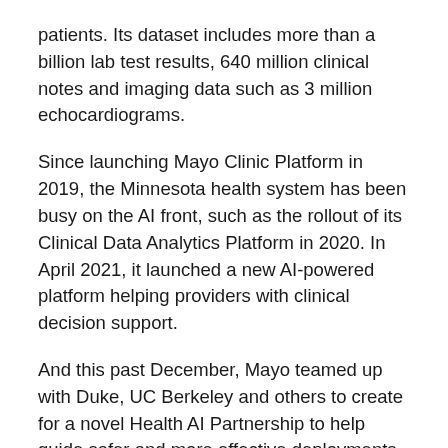patients. Its dataset includes more than a billion lab test results, 640 million clinical notes and imaging data such as 3 million echocardiograms.
Since launching Mayo Clinic Platform in 2019, the Minnesota health system has been busy on the AI front, such as the rollout of its Clinical Data Analytics Platform in 2020. In April 2021, it launched a new AI-powered platform helping providers with clinical decision support.
And this past December, Mayo teamed up with Duke, UC Berkeley and others to create for a novel Health AI Partnership to help guide safer and more effective deployments of artificial intelligence and machine learning tools.
BD takes post-market surveillance for the safety and security of its devices seriously. In 2020, for instance, it launched the BD Cybersecurity Trust Center, where